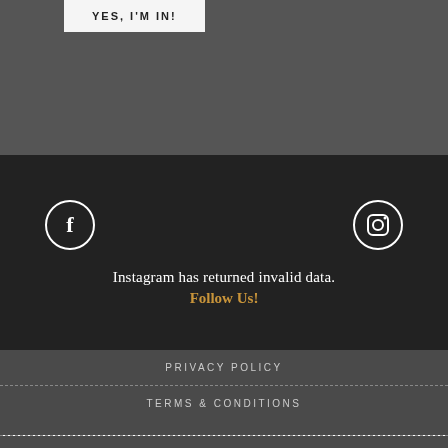YES, I'M IN!
[Figure (illustration): Social media icons: Facebook (circle with f) and Instagram (circle with camera icon)]
Instagram has returned invalid data.
Follow Us!
PRIVACY POLICY
TERMS & CONDITIONS
@2016 REBELLE SOCIETY